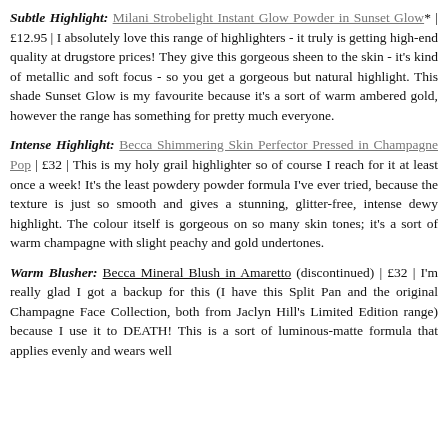Subtle Highlight: Milani Strobelight Instant Glow Powder in Sunset Glow* | £12.95 | I absolutely love this range of highlighters - it truly is getting high-end quality at drugstore prices! They give this gorgeous sheen to the skin - it's kind of metallic and soft focus - so you get a gorgeous but natural highlight. This shade Sunset Glow is my favourite because it's a sort of warm ambered gold, however the range has something for pretty much everyone.
Intense Highlight: Becca Shimmering Skin Perfector Pressed in Champagne Pop | £32 | This is my holy grail highlighter so of course I reach for it at least once a week! It's the least powdery powder formula I've ever tried, because the texture is just so smooth and gives a stunning, glitter-free, intense dewy highlight. The colour itself is gorgeous on so many skin tones; it's a sort of warm champagne with slight peachy and gold undertones.
Warm Blusher: Becca Mineral Blush in Amaretto (discontinued) | £32 | I'm really glad I got a backup for this (I have this Split Pan and the original Champagne Face Collection, both from Jaclyn Hill's Limited Edition range) because I use it to DEATH! This is a sort of luminous-matte formula that applies evenly and wears well